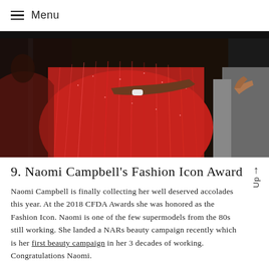≡ Menu
[Figure (photo): Woman in a red sequined/fringed gown stepping out of a black vehicle, photographed from the side; her reflection is visible in the car door mirror.]
9. Naomi Campbell's Fashion Icon Award
Naomi Campbell is finally collecting her well deserved accolades this year. At the 2018 CFDA Awards she was honored as the Fashion Icon. Naomi is one of the few supermodels from the 80s still working. She landed a NARs beauty campaign recently which is her first beauty campaign in her 3 decades of working. Congratulations Naomi.